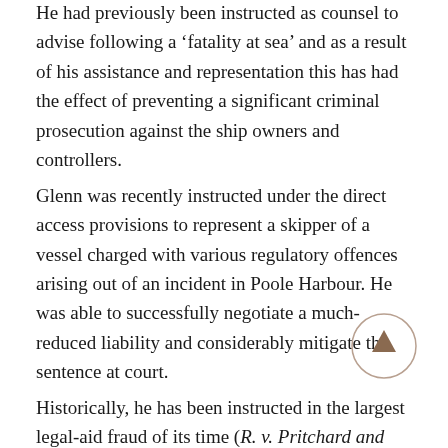He had previously been instructed as counsel to advise following a 'fatality at sea' and as a result of his assistance and representation this has had the effect of preventing a significant criminal prosecution against the ship owners and controllers.
Glenn was recently instructed under the direct access provisions to represent a skipper of a vessel charged with various regulatory offences arising out of an incident in Poole Harbour. He was able to successfully negotiate a much-reduced liability and considerably mitigate the sentence at court.
Historically, he has been instructed in the largest legal-aid fraud of its time (R. v. Pritchard and others) and in R v Twomey and others which was a large scale armed